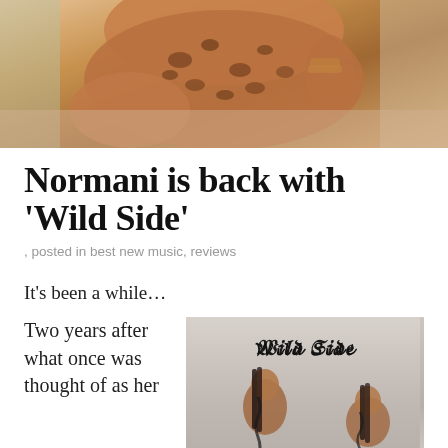[Figure (photo): Hero image of Normani in a leopard print outfit, posing provocatively in a car or similar setting with warm tones]
Normani is back with 'Wild Side'
, posted in best new music, reviews
It's been a while…
Two years after what once was thought of as her
[Figure (photo): Album/single artwork for 'Wild Side' by Normani showing two women with decorative body art against a muted background, with the stylized 'Wild Side' text logo at the top]